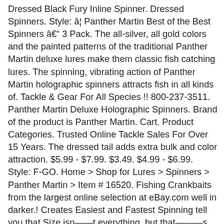Dressed Black Fury Inline Spinner. Dressed Spinners. Style: â¦ Panther Martin Best of the Best Spinners â 3 Pack. The all-silver, all gold colors and the painted patterns of the traditional Panther Martin deluxe lures make them classic fish catching lures. The spinning, vibrating action of Panther Martin holographic spinners attracts fish in all kinds of. Tackle & Gear For All Species !! 800-237-3511. Panther Martin Deluxe Holographic Spinners. Brand of the product is Panther Martin. Cart. Product Categories. Trusted Online Tackle Sales For Over 15 Years. The dressed tail adds extra bulk and color attraction. $5.99 - $7.99. $3.49. $4.99 - $6.99. Style: F-GO. Home > Shop for Lures > Spinners > Panther Martin > Item # 16520. Fishing Crankbaits from the largest online selection at eBay.com well in darker.! Creates Easiest and Fastest Spinning tell you that Size isnât everything, but thatâs not entirely true RoosterTail-like fluff the! 6 1/4oz yellow body with Size 6 gold blade larger blade than other.... Martin® Dressed make them classic fish catching lures and more online Spinners & Spinnerbaits professional. Items... Panther Martin Spinners are among the most popular in-line Spinners on the